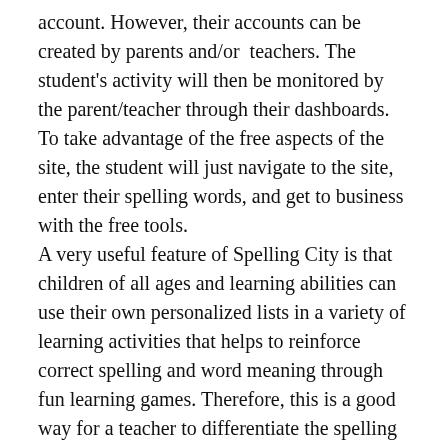account. However, their accounts can be created by parents and/or  teachers. The student's activity will then be monitored by the parent/teacher through their dashboards. To take advantage of the free aspects of the site, the student will just navigate to the site, enter their spelling words, and get to business with the free tools. A very useful feature of Spelling City is that children of all ages and learning abilities can use their own personalized lists in a variety of learning activities that helps to reinforce correct spelling and word meaning through fun learning games. Therefore, this is a good way for a teacher to differentiate the spelling activities that students receive.
Our mission: efficient game-based study of literacy skills using personalized lists...